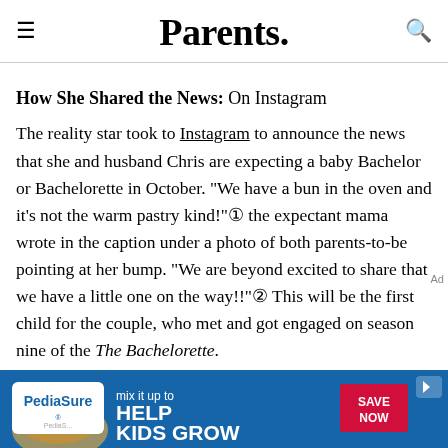Parents.
How She Shared the News: On Instagram
The reality star took to Instagram to announce the news that she and husband Chris are expecting a baby Bachelor or Bachelorette in October. "We have a bun in the oven and it's not the warm pastry kind!"🍞 the expectant mama wrote in the caption under a photo of both parents-to-be pointing at her bump. "We are beyond excited to share that we have a little one on the way!!"🎉 This will be the first child for the couple, who met and got engaged on season nine of the The Bachelorette.
[Figure (infographic): PediaSure advertisement banner: blue background with PediaSure logo, text 'mix it up to HELP KIDS GROW' and a red 'SAVE NOW' button]